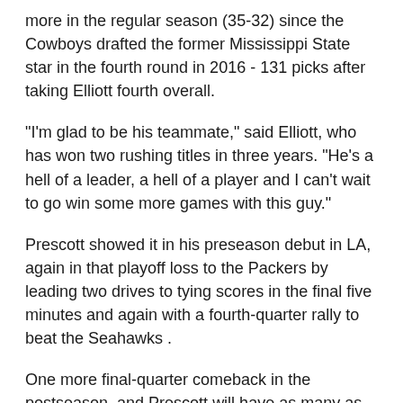more in the regular season (35-32) since the Cowboys drafted the former Mississippi State star in the fourth round in 2016 - 131 picks after taking Elliott fourth overall.
"I'm glad to be his teammate," said Elliott, who has won two rushing titles in three years. "He's a hell of a leader, a hell of a player and I can't wait to go win some more games with this guy."
Prescott showed it in his preseason debut in LA, again in that playoff loss to the Packers by leading two drives to tying scores in the final five minutes and again with a fourth-quarter rally to beat the Seahawks .
One more final-quarter comeback in the postseason, and Prescott will have as many as Roger Staubach, the